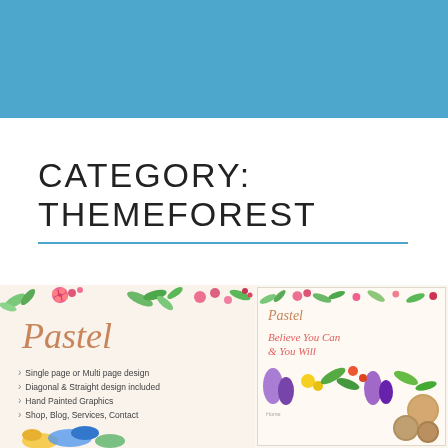[Figure (illustration): Blue sky/header banner at top of page]
CATEGORY: THEMEFOREST
[Figure (screenshot): Screenshot of Pastel WordPress theme showing floral decorations, script logo, feature list (Single page or Multi page design, Diagonal & Straight design included, Hand Painted Graphics, Shop, Blog, Services, Contact), and a second smaller screenshot of the theme's website layout with colorful hand-painted floral graphics and tagline 'Believe You Can & You Will']